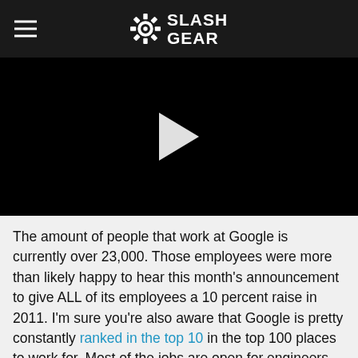SlashGear
[Figure (screenshot): Black video player area with white play button triangle in the center]
The amount of people that work at Google is currently over 23,000. Those employees were more than likely happy to hear this month's announcement to give ALL of its employees a 10 percent raise in 2011. I'm sure you're also aware that Google is pretty constantly ranked in the top 10 in the top 100 places to work for. Most of the jobs are open for engineers and sales staffers, around half of them ending up being in the USA. There's around